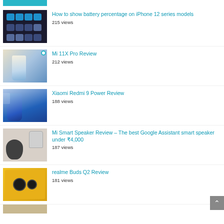[Figure (screenshot): Partial thumbnail at top of page, teal/cyan color bar]
How to show battery percentage on iPhone 12 series models
215 views
Mi 11X Pro Review
212 views
Xiaomi Redmi 9 Power Review
188 views
Mi Smart Speaker Review – The best Google Assistant smart speaker under ₹4,000
187 views
realme Buds Q2 Review
181 views
[Figure (screenshot): Partial thumbnail at bottom of page]
[Figure (screenshot): Scroll-to-top button at bottom right]